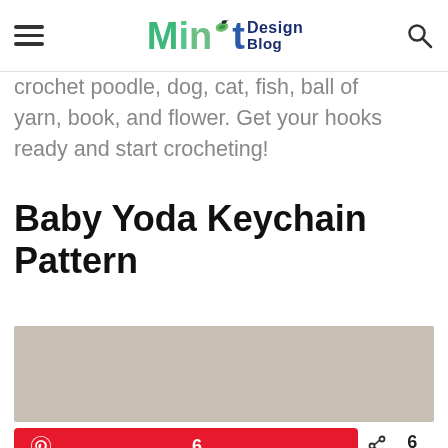Mint Design Blog
crochet poodle, dog, cat, fish, ball of yarn, book, and flower. Get your hooks ready and start crocheting!
Baby Yoda Keychain Pattern
[Figure (photo): Beige/taupe colored image placeholder for Baby Yoda Keychain article]
6   6 SHARES